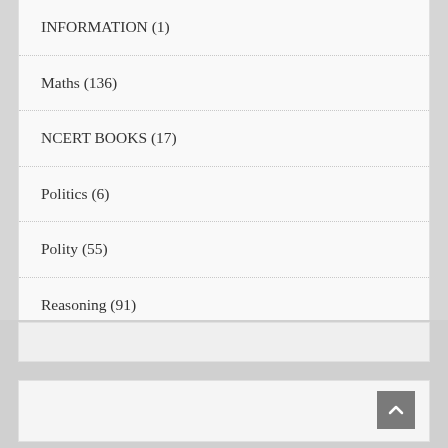INFORMATION (1)
Maths (136)
NCERT BOOKS (17)
Politics (6)
Polity (55)
Reasoning (91)
RRB NTPC (1)
Uncategorised (4)